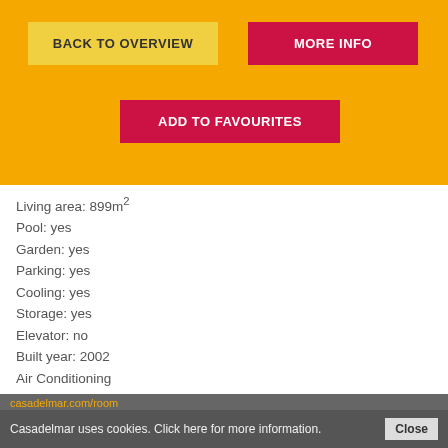BACK TO OVERVIEW
MORE INFO
ADD TO FAVOURITES
Living area: 899m²
Pool: yes
Garden: yes
Parking: yes
Cooling: yes
Storage: yes
Elevator: no
Built year: 2002
Air Conditioning
Air Conditioning Hot/Cold
Alarm System
Bar
Barbecue
Basement
Close to all Amenities
Conveniently Situated for Golf
Covered Terrace
Dining Area
Dressing Room
Casadelmar uses cookies. Click here for more information. Close
casadelmar.com/room